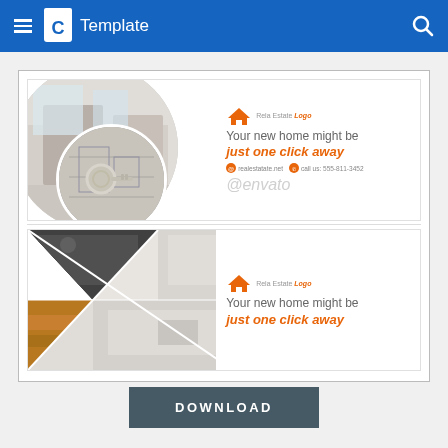C Template
[Figure (screenshot): Real estate banner template preview showing two banner designs. Top banner: circular photo collage of home interior and keys, with text 'Your new home might be just one click away', Rela Estate Logo, contact info (realestatenet, call us: 555-811-3452), @envato. Bottom banner: diamond/triangle photo collage of kitchen/home interior, with text 'Your new home might be just one click away', Rela Estate Logo.]
DOWNLOAD